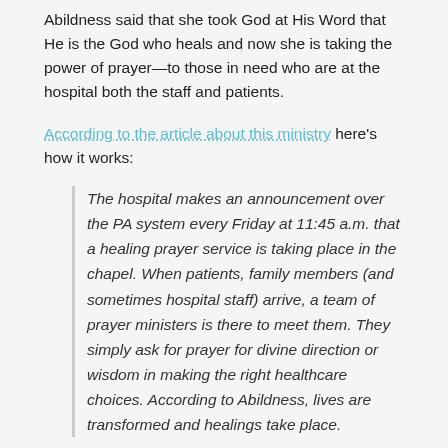Abildness said that she took God at His Word that He is the God who heals and now she is taking the power of prayer—to those in need who are at the hospital both the staff and patients.
According to the article about this ministry here's how it works:
The hospital makes an announcement over the PA system every Friday at 11:45 a.m. that a healing prayer service is taking place in the chapel. When patients, family members (and sometimes hospital staff) arrive, a team of prayer ministers is there to meet them. They simply ask for prayer for divine direction or wisdom in making the right healthcare choices. According to Abildness, lives are transformed and healings take place.